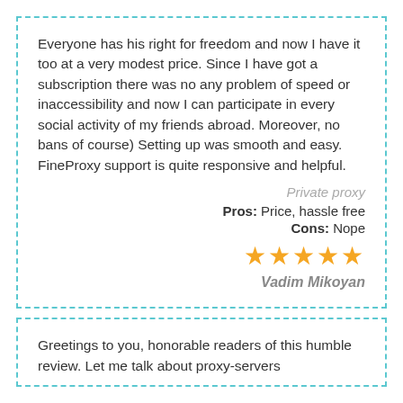Everyone has his right for freedom and now I have it too at a very modest price. Since I have got a subscription there was no any problem of speed or inaccessibility and now I can participate in every social activity of my friends abroad. Moreover, no bans of course) Setting up was smooth and easy. FineProxy support is quite responsive and helpful.
Private proxy
Pros:  Price, hassle free
Cons:  Nope
★★★★★
Vadim Mikoyan
Greetings to you, honorable readers of this humble review. Let me talk about proxy-servers